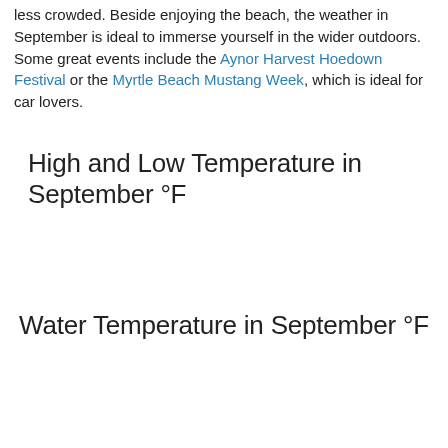less crowded. Beside enjoying the beach, the weather in September is ideal to immerse yourself in the wider outdoors. Some great events include the Aynor Harvest Hoedown Festival or the Myrtle Beach Mustang Week, which is ideal for car lovers.
High and Low Temperature in September °F
Water Temperature in September °F